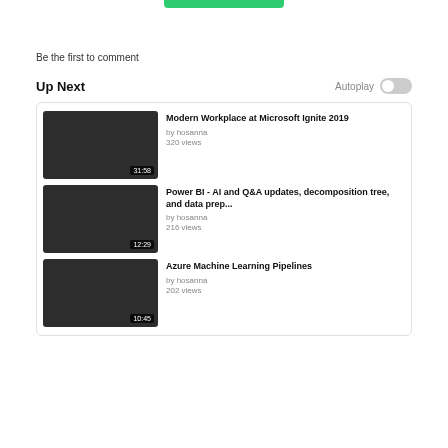[Figure (other): Green progress/status bar at top]
Be the first to comment
Up Next
[Figure (other): Autoplay toggle switch (off)]
[Figure (other): Video thumbnail dark rectangle with duration 31:58 for Modern Workplace at Microsoft Ignite 2019]
Modern Workplace at Microsoft Ignite 2019
by hosanna
320 views
[Figure (other): Video thumbnail dark rectangle with duration 12:29 for Power BI - AI and Q&A updates, decomposition tree, and data prep...]
Power BI - AI and Q&A updates, decomposition tree, and data prep...
by hosanna
216 views
[Figure (other): Video thumbnail dark rectangle with duration 10:45 for Azure Machine Learning Pipelines]
Azure Machine Learning Pipelines
by hosanna
202 views